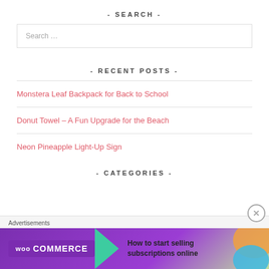- SEARCH -
Search …
- RECENT POSTS -
Monstera Leaf Backpack for Back to School
Donut Towel – A Fun Upgrade for the Beach
Neon Pineapple Light-Up Sign
- CATEGORIES -
[Figure (screenshot): WooCommerce advertisement banner: 'How to start selling subscriptions online']
Advertisements